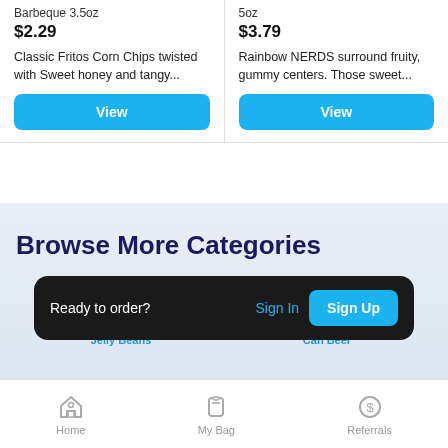Barbeque 3.5oz
$2.29
5oz
$3.79
Classic Fritos Corn Chips twisted with Sweet honey and tangy...
Rainbow NERDS surround fruity, gummy centers. Those sweet...
View
View
Browse More Categories
Jelly Beans
Can Beer
Ready to order?
Sign In
Sign Up
Home
My Bag
Referrals